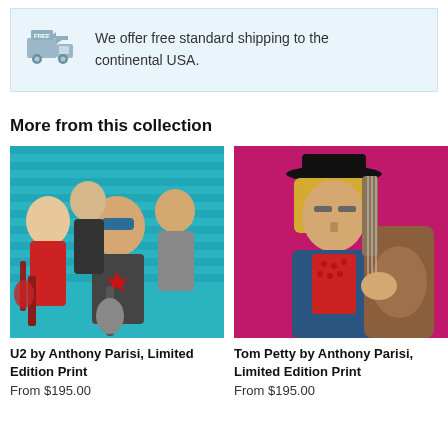We offer free standard shipping to the continental USA.
More from this collection
[Figure (illustration): Comic-style illustration of U2 band members playing guitars against a teal striped background]
U2 by Anthony Parisi, Limited Edition Print
From $195.00
[Figure (illustration): Comic-style illustration of Tom Petty playing guitar against a magenta/pink background]
Tom Petty by Anthony Parisi, Limited Edition Print
From $195.00